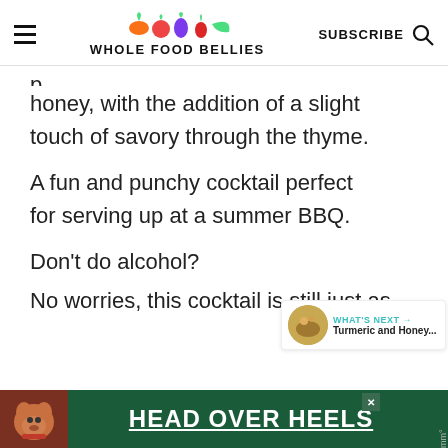WHOLE FOOD BELLIES
honey, with the addition of a slight touch of savory through the thyme.
A fun and punchy cocktail perfect for serving up at a summer BBQ.
Don't do alcohol?
No worries, this cocktail is still just as
[Figure (screenshot): Advertisement banner: dog image on left, green background, text HEAD OVER HEELS in large white bold letters with close button]